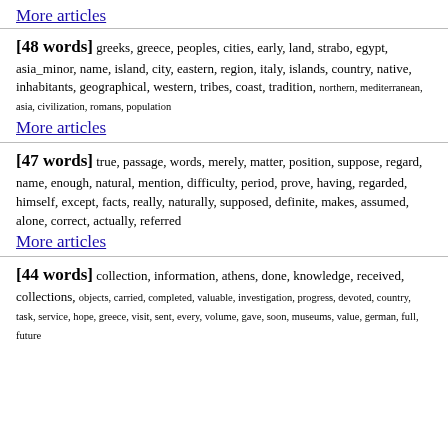More articles
[48 words] greeks, greece, peoples, cities, early, land, strabo, egypt, asia_minor, name, island, city, eastern, region, italy, islands, country, native, inhabitants, geographical, western, tribes, coast, tradition, northern, mediterranean, asia, civilization, romans, population
More articles
[47 words] true, passage, words, merely, matter, position, suppose, regard, name, enough, natural, mention, difficulty, period, prove, having, regarded, himself, except, facts, really, naturally, supposed, definite, makes, assumed, alone, correct, actually, referred
More articles
[44 words] collection, information, athens, done, knowledge, received, collections, objects, carried, completed, valuable, investigation, progress, devoted, country, task, service, hope, greece, visit, sent, every, volume, gave, soon, museums, value, german, full, future